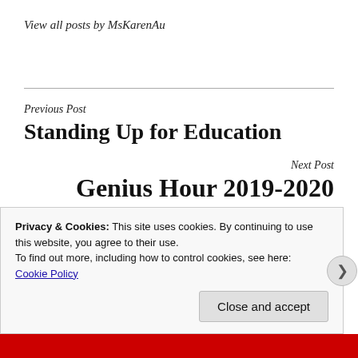View all posts by MsKarenAu
Previous Post
Standing Up for Education
Next Post
Genius Hour 2019-2020 Installment
Privacy & Cookies: This site uses cookies. By continuing to use this website, you agree to their use.
To find out more, including how to control cookies, see here:
Cookie Policy
Close and accept